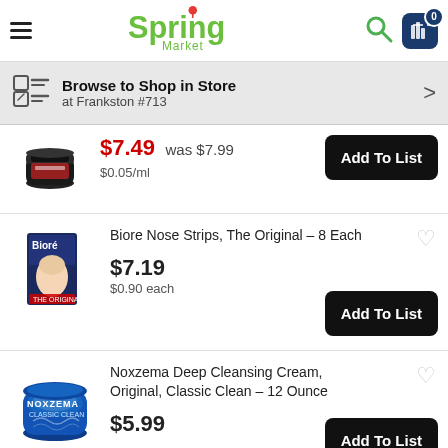Spring Market — Browse to Shop in Store at Frankston #713
$7.49 was $7.99 $0.05/ml — Add To List
Biore Nose Strips, The Original - 8 Each — $7.19 $0.90 each — Add To List
Noxzema Deep Cleansing Cream, Original, Classic Clean - 12 Ounce — $5.99 — Add To List